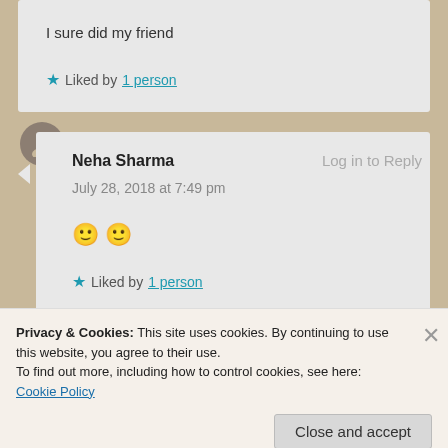I sure did my friend
★ Liked by 1 person
Neha Sharma   Log in to Reply
July 28, 2018 at 7:49 pm
🙂 🙂
★ Liked by 1 person
[Figure (screenshot): CrowdSignal advertisement banner with dark background, WordPress logo on left and CrowdSignal logo on right]
Privacy & Cookies: This site uses cookies. By continuing to use this website, you agree to their use.
To find out more, including how to control cookies, see here: Cookie Policy
Close and accept